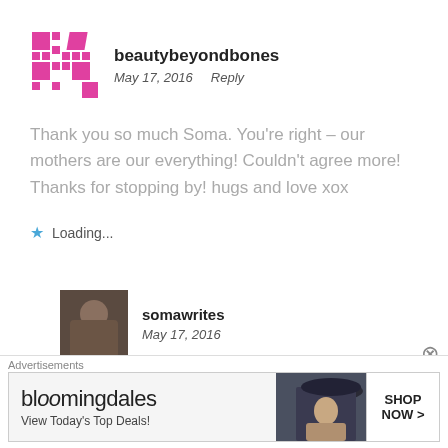[Figure (logo): beautybeyondbones pink geometric logo/avatar]
beautybeyondbones
May 17, 2016   Reply
Thank you so much Soma. You're right – our mothers are our everything! Couldn't agree more! Thanks for stopping by! hugs and love xox
Loading...
[Figure (photo): Profile photo of somawrites - person smiling]
somawrites
May 17, 2016
You are welcome!! hugs and love xox
Advertisements
[Figure (other): Bloomingdales advertisement banner - View Today's Top Deals! SHOP NOW >]